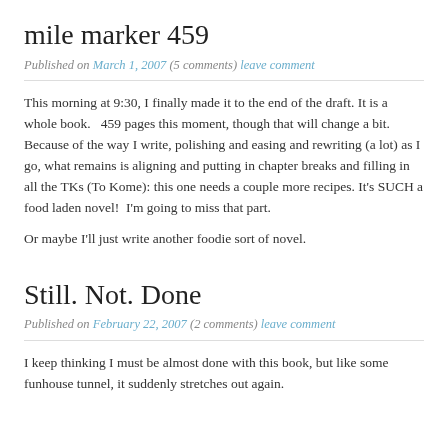mile marker 459
Published on March 1, 2007  (5 comments)  leave comment
This morning at 9:30, I finally made it to the end of the draft. It is a whole book.   459 pages this moment, though that will change a bit. Because of the way I write, polishing and easing and rewriting (a lot) as I go, what remains is aligning and putting in chapter breaks and filling in all the TKs (To Kome): this one needs a couple more recipes. It's SUCH a food laden novel!  I'm going to miss that part.
Or maybe I'll just write another foodie sort of novel.
Still. Not. Done
Published on February 22, 2007  (2 comments)  leave comment
I keep thinking I must be almost done with this book, but like some funhouse tunnel, it suddenly stretches out again.